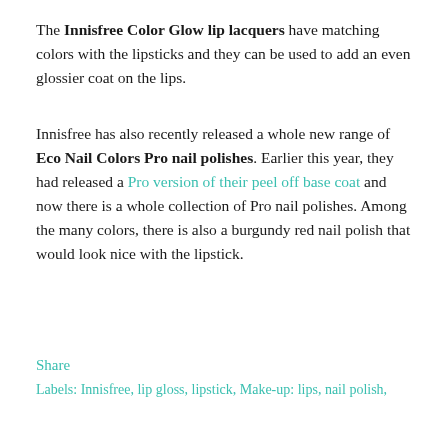The Innisfree Color Glow lip lacquers have matching colors with the lipsticks and they can be used to add an even glossier coat on the lips.
Innisfree has also recently released a whole new range of Eco Nail Colors Pro nail polishes. Earlier this year, they had released a Pro version of their peel off base coat and now there is a whole collection of Pro nail polishes. Among the many colors, there is also a burgundy red nail polish that would look nice with the lipstick.
Share
Labels: Innisfree, lip gloss, lipstick, Make-up: lips, nail polish,